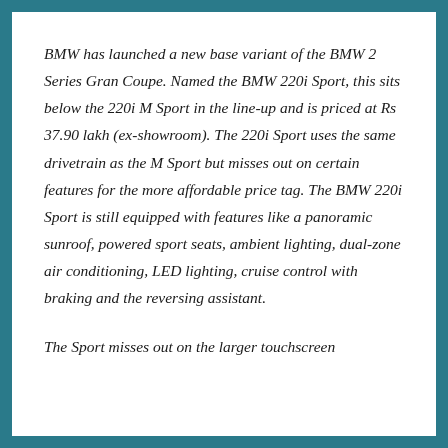BMW has launched a new base variant of the BMW 2 Series Gran Coupe. Named the BMW 220i Sport, this sits below the 220i M Sport in the line-up and is priced at Rs 37.90 lakh (ex-showroom). The 220i Sport uses the same drivetrain as the M Sport but misses out on certain features for the more affordable price tag. The BMW 220i Sport is still equipped with features like a panoramic sunroof, powered sport seats, ambient lighting, dual-zone air conditioning, LED lighting, cruise control with braking and the reversing assistant.
The Sport misses out on the larger touchscreen